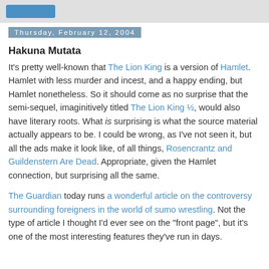Thursday, February 12, 2004
Hakuna Mutata
It's pretty well-known that The Lion King is a version of Hamlet. Hamlet with less murder and incest, and a happy ending, but Hamlet nonetheless. So it should come as no surprise that the semi-sequel, imaginitively titled The Lion King ½, would also have literary roots. What is surprising is what the source material actually appears to be. I could be wrong, as I've not seen it, but all the ads make it look like, of all things, Rosencrantz and Guildenstern Are Dead. Appropriate, given the Hamlet connection, but surprising all the same.
The Guardian today runs a wonderful article on the controversy surrounding foreigners in the world of sumo wrestling. Not the type of article I thought I'd ever see on the "front page", but it's one of the most interesting features they've run in days.